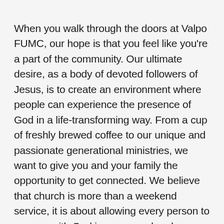When you walk through the doors at Valpo FUMC, our hope is that you feel like you're a part of the community. Our ultimate desire, as a body of devoted followers of Jesus, is to create an environment where people can experience the presence of God in a life-transforming way. From a cup of freshly brewed coffee to our unique and passionate generational ministries, we want to give you and your family the opportunity to get connected. We believe that church is more than a weekend service, it is about allowing every person to engage with God in a personal and intimate way.